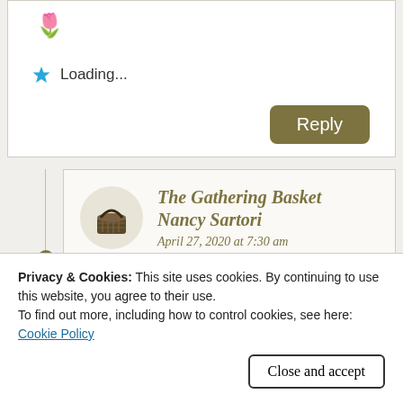[Figure (illustration): Flower emoji (tulip/bouquet)]
Loading...
Reply
The Gathering Basket Nancy Sartori
April 27, 2020 at 7:30 am
To name my favorite flower would be impossible for so
Privacy & Cookies: This site uses cookies. By continuing to use this website, you agree to their use.
To find out more, including how to control cookies, see here:
Cookie Policy
Close and accept